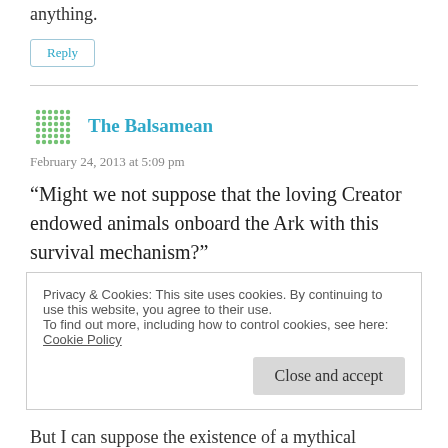anything.
Reply
The Balsamean
February 24, 2013 at 5:09 pm
“Might we not suppose that the loving Creator endowed animals onboard the Ark with this survival mechanism?”
Privacy & Cookies: This site uses cookies. By continuing to use this website, you agree to their use.
To find out more, including how to control cookies, see here:
Cookie Policy
Close and accept
But I can suppose the existence of a mythical